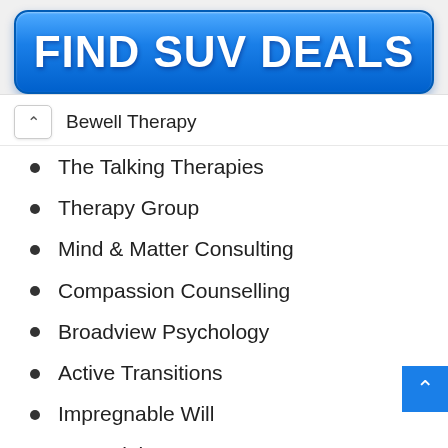[Figure (other): Blue button with white bold text reading FIND SUV DEALS]
Bewell Therapy
The Talking Therapies
Therapy Group
Mind & Matter Consulting
Compassion Counselling
Broadview Psychology
Active Transitions
Impregnable Will
Essential Grace
Ready Release
Reframe Psychology Clinic
Mental Message Clinics